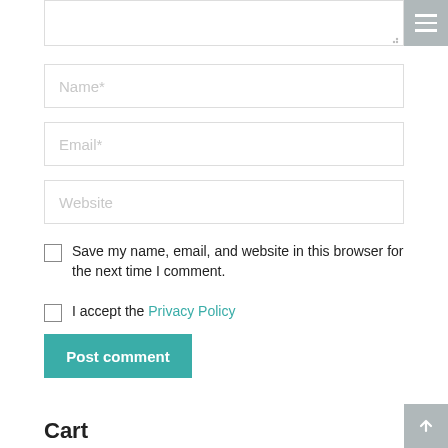[Figure (screenshot): Textarea input box (partially visible at top) with a grey hamburger menu icon button in the top-right corner]
Name*
Email*
Website
Save my name, email, and website in this browser for the next time I comment.
I accept the Privacy Policy
Post comment
Cart